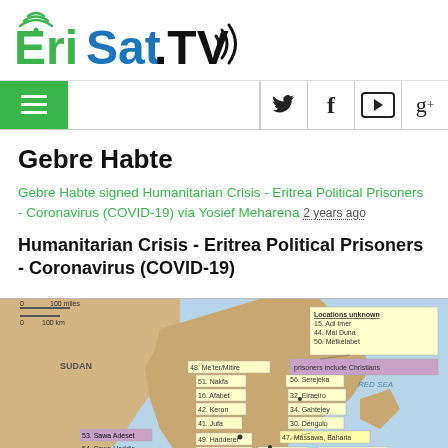[Figure (logo): EriSat.TV logo with WiFi signal icon in green and sound waves in black]
[Figure (screenshot): Navigation bar with green hamburger menu button on left, and social media icons (Twitter, Facebook, YouTube, Google+) on right]
Gebre Habte
Gebre Habte signed Humanitarian Crisis - Eritrea Political Prisoners - Coronavirus (COVID-19) via Yosief Meharena 2 years ago
Humanitarian Crisis - Eritrea Political Prisoners - Coronavirus (COVID-19)
[Figure (map): Map of Eritrea and surrounding region showing political prisoner locations including Sudan border area, Red Sea coast, and various labeled detention sites. Yellow boxes show locations like Adi Imer, Mai Duna, Metkelabet listed as unknown locations. Purple box notes prisoners include Christians. Labeled locations include Nakfa, Afabet, Sawa, Massawa/Baharia, Dahlak Kebir, Nakura, Ghindae, and many others.]